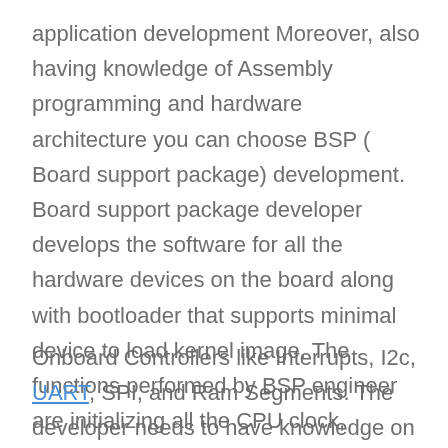application development Moreover, also having knowledge of Assembly programming and hardware architecture you can choose BSP ( Board support package) development. Board support package developer develops the software for all the hardware devices on the board along with bootloader that supports minimal device to load kernel image. The functions performed by BSP engineer are initializing all the CPU clock,
Onboard Controllers like Interrupts, I2c, UART, SPI, and Ram Segments. The developer needs to have knowledge on embedded C, Assembly